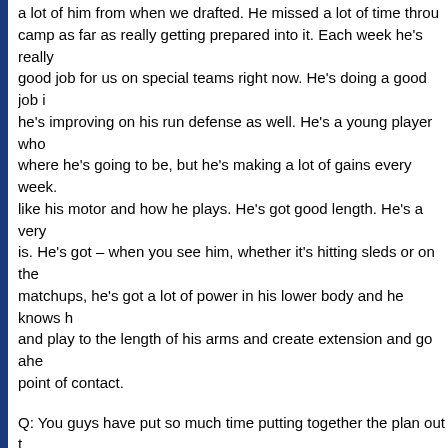a lot of him from when we drafted. He missed a lot of time through camp as far as really getting prepared into it. Each week he's really good job for us on special teams right now. He's doing a good job i he's improving on his run defense as well. He's a young player who where he's going to be, but he's making a lot of gains every week. like his motor and how he plays. He's got good length. He's a very is. He's got – when you see him, whether it's hitting sleds or on the matchups, he's got a lot of power in his lower body and he knows h and play to the length of his arms and create extension and go ahe point of contact.
Q: You guys have put so much time putting together the plan out t everything together. How close are you in terms of the training sta you need out there? Do you have full use of the facilities out there are trying to rehab and get back this week?
A: Yeah, I'll tell you what, the University of Arizona has been very, they've done a great job as far as letting us use their facilities. Our rooms, the weight room, the training room, the workout facilities, use for practice – really, everything's been first class and these guy we've asked. They've bent over backwards. They couldn't be more h